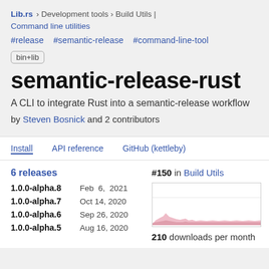Lib.rs › Development tools › Build Utils | Command line utilities
#release   #semantic-release   #command-line-tool
bin+lib
semantic-release-rust
A CLI to integrate Rust into a semantic-release workflow
by Steven Bosnick and 2 contributors
Install   API reference   GitHub (kettleby)
6 releases
1.0.0-alpha.8  Feb  6, 2021
1.0.0-alpha.7  Oct 14, 2020
1.0.0-alpha.6  Sep 26, 2020
1.0.0-alpha.5  Aug 16, 2020
#150 in Build Utils
[Figure (area-chart): Downloads per month area chart showing download history, with pink/rose colored area fill]
210 downloads per month